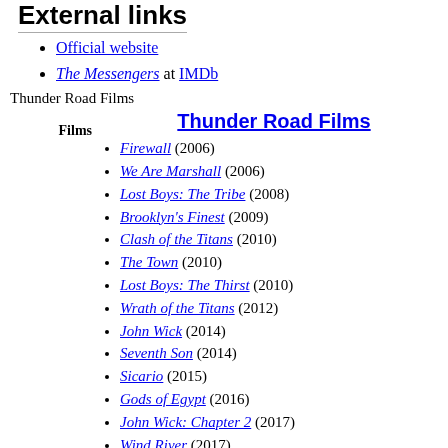External links
Official website
The Messengers at IMDb
Thunder Road Films
Thunder Road Films
Firewall (2006)
We Are Marshall (2006)
Lost Boys: The Tribe (2008)
Brooklyn's Finest (2009)
Clash of the Titans (2010)
The Town (2010)
Lost Boys: The Thirst (2010)
Wrath of the Titans (2012)
John Wick (2014)
Seventh Son (2014)
Sicario (2015)
Gods of Egypt (2016)
John Wick: Chapter 2 (2017)
Wind River (2017)
Sicario: Day of the Soldado (2018)
The Current War (2018)
Hotel Mumbai (2018)
Robin Hood (2018)